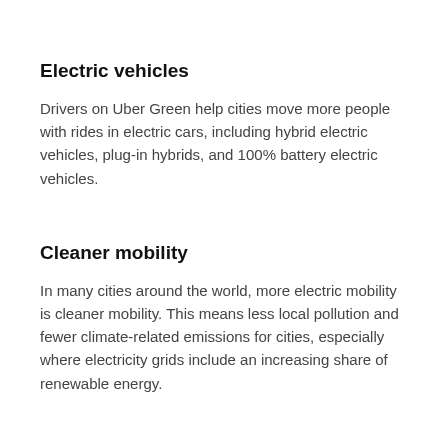Electric vehicles
Drivers on Uber Green help cities move more people with rides in electric cars, including hybrid electric vehicles, plug-in hybrids, and 100% battery electric vehicles.
Cleaner mobility
In many cities around the world, more electric mobility is cleaner mobility. This means less local pollution and fewer climate-related emissions for cities, especially where electricity grids include an increasing share of renewable energy.